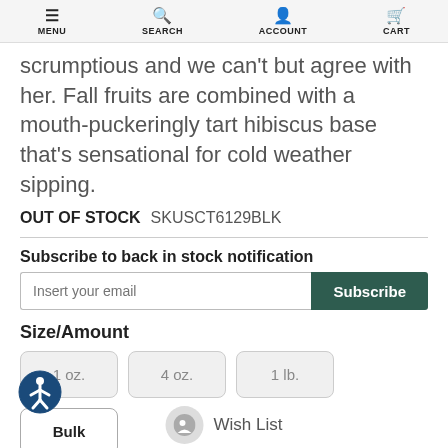MENU  SEARCH  ACCOUNT  CART
scrumptious and we can't but agree with her. Fall fruits are combined with a mouth-puckeringly tart hibiscus base that's sensational for cold weather sipping.
OUT OF STOCK  SKUSCT6129BLK
Subscribe to back in stock notification
Insert your email  Subscribe
Size/Amount
1 oz.
4 oz.
1 lb.
Bulk
Wish List